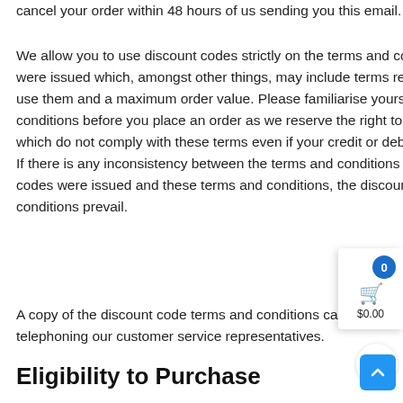cancel your order within 48 hours of us sending you this email.
We allow you to use discount codes strictly on the terms and conditions upon which they were issued which, amongst other things, may include terms relating to your eligibility to use them and a maximum order value. Please familiarise yourself with these terms and conditions before you place an order as we reserve the right to reject or cancel any orders which do not comply with these terms even if your credit or debit card has been charged. If there is any inconsistency between the terms and conditions upon which the discount codes were issued and these terms and conditions, the discount code terms and conditions prevail.
A copy of the discount code terms and conditions can be obtained by mailing or telephoning our customer service representatives.
Eligibility to Purchase